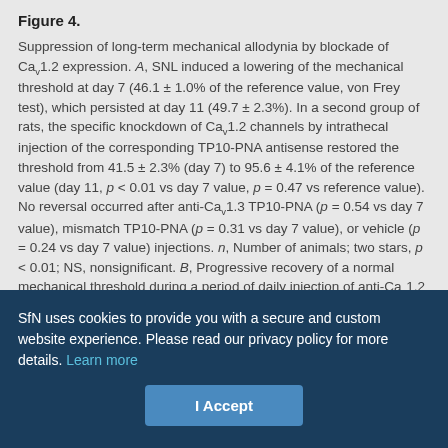Figure 4. Suppression of long-term mechanical allodynia by blockade of Cav1.2 expression. A, SNL induced a lowering of the mechanical threshold at day 7 (46.1 ± 1.0% of the reference value, von Frey test), which persisted at day 11 (49.7 ± 2.3%). In a second group of rats, the specific knockdown of Cav1.2 channels by intrathecal injection of the corresponding TP10-PNA antisense restored the threshold from 41.5 ± 2.3% (day 7) to 95.6 ± 4.1% of the reference value (day 11, p < 0.01 vs day 7 value, p = 0.47 vs reference value). No reversal occurred after anti-Cav1.3 TP10-PNA (p = 0.54 vs day 7 value), mismatch TP10-PNA (p = 0.31 vs day 7 value), or vehicle (p = 0.24 vs day 7 value) injections. n, Number of animals; two stars, p < 0.01; NS, nonsignificant. B, Progressive recovery of a normal mechanical threshold during a period of daily injection of anti-Cav1.2 TP10-PNA (arrows) in SNL animals. The allodynia resumed progressively after the last TP10-PNA injection. Cav1.2 is necessary for the maintenance of the neuropathic pain sensitization. n = 4 animals; one star, p < 0.05; two stars, p < 0.01.
Ventral horn neurons and especially plateau potential-generating
SfN uses cookies to provide you with a secure and custom website experience. Please read our privacy policy for more details. Learn more